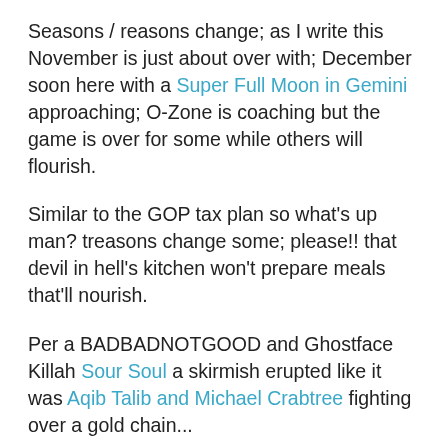Seasons / reasons change; as I write this November is just about over with; December soon here with a Super Full Moon in Gemini approaching;  O-Zone is coaching but the game is over for some while others will flourish.
Similar to the GOP tax plan so what's up man? treasons change some; please!!  that devil in hell's kitchen won't prepare meals that'll nourish.
Per a BADBADNOTGOOD and Ghostface Killah Sour Soul a skirmish erupted  like it was Aqib Talib and Michael Crabtree fighting over a gold chain...
That's not good!! you'll get fired like Matt Lauer or missiles will get fired like North Korea; some will feel the pain...
That's not hood was the declaration made by homie over off of Candler Road in Decatur where the pawn